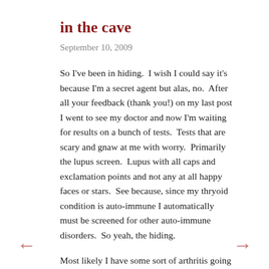in the cave
September 10, 2009
So I've been in hiding. I wish I could say it's because I'm a secret agent but alas, no. After all your feedback (thank you!) on my last post I went to see my doctor and now I'm waiting for results on a bunch of tests. Tests that are scary and gnaw at me with worry. Primarily the lupus screen. Lupus with all caps and exclamation points and not any at all happy faces or stars. See because, since my thryoid condition is auto-immune I automatically must be screened for other auto-immune disorders. So yeah, the hiding.
Most likely I have some sort of arthritis going on. Because did you know that inflammation itself can cause fatigue? I didn't know that. And if you have